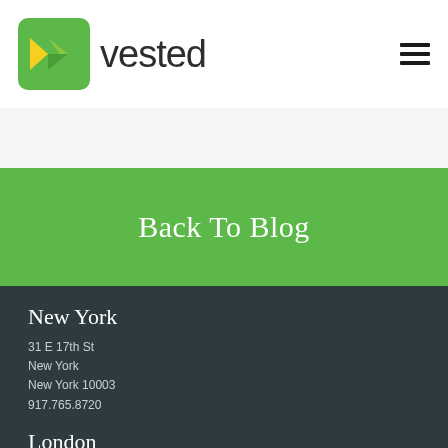[Figure (logo): Vested company logo: green rounded square with yellow/green chevron V shape, followed by 'vested' text in dark gray]
Back To Blog
New York
31 E 17th St
New York
New York 10003
917.765.8720
London
Treasure House – 19-21 Hatton Garden
London EC1N 8BA